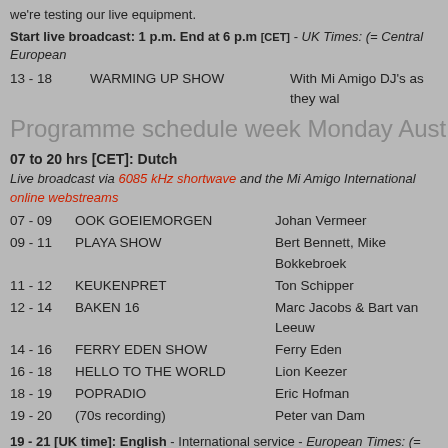we're testing our live equipment.
Start live broadcast: 1 p.m. End at 6 p.m [CET] - UK Times: (= Central European
13 - 18   WARMING UP SHOW   With Mi Amigo DJ's as they wal
Programme schedule week Monday Aust 9 to Friday Au
07 to 20 hrs [CET]: Dutch
Live broadcast via 6085 kHz shortwave and the Mi Amigo International online webstreams
07 - 09   OOK GOEIEMORGEN   Johan Vermeer
09 - 11   PLAYA SHOW   Bert Bennett, Mike Bokkebroek
11 - 12   KEUKENPRET   Ton Schipper
12 - 14   BAKEN 16   Marc Jacobs & Bart van Leeuw
14 - 16   FERRY EDEN SHOW   Ferry Eden
16 - 18   HELLO TO THE WORLD   Lion Keezer
18 - 19   POPRADIO   Eric Hofman
19 - 20   (70s recording)   Peter van Dam
19 - 21 [UK time]: English - International service - European Times: (= UK time +1
19 - 20   LONDON CALLING   Paul Newman
20 - 21   LIVE FROM CORNWALL   Steve Foster
Programme schedule Saturday, August 14 to Sunday, A